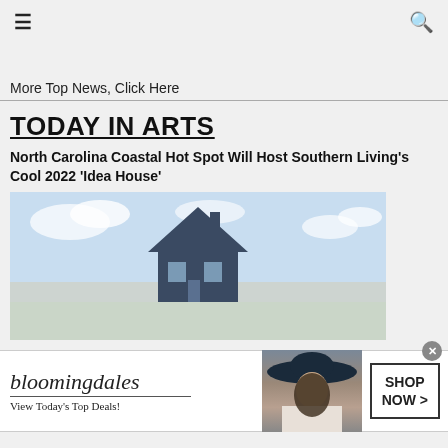≡  🔍
More Top News, Click Here
TODAY IN ARTS
North Carolina Coastal Hot Spot Will Host Southern Living's Cool 2022 'Idea House'
[Figure (illustration): Watercolor illustration of a coastal house with blue sky and clouds]
[Figure (other): Bloomingdale's advertisement banner: 'bloomingdales / View Today's Top Deals!' with a woman in a wide-brimmed hat and a SHOP NOW > button]